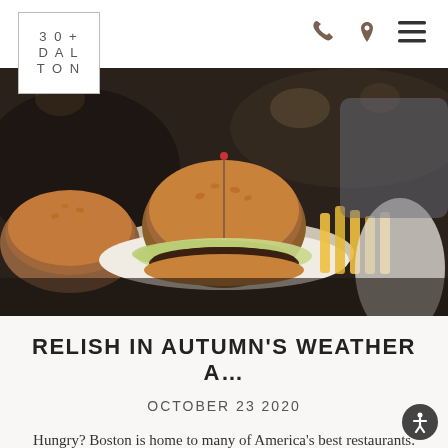30+ DALTON
[Figure (photo): Close-up food photography of gourmet burgers on a plate with fries, dark restaurant atmosphere]
RELISH IN AUTUMN'S WEATHER A...
OCTOBER 23 2020
Hungry? Boston is home to many of America's best restaurants. These eateries in Back Bay feature beautiful and relaxing outdoor dining…